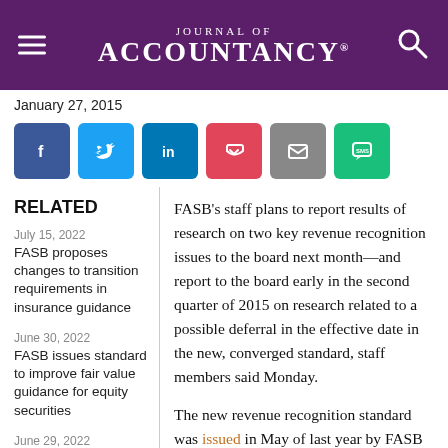Journal of Accountancy
January 27, 2015
[Figure (infographic): Social share buttons: Facebook, Twitter, LinkedIn, Pocket, Email, SMS]
RELATED
July 15, 2022
FASB proposes changes to transition requirements in insurance guidance
June 30, 2022
FASB issues standard to improve fair value guidance for equity securities
June 29, 2022
FASB adds three new projects to technical
FASB's staff plans to report results of research on two key revenue recognition issues to the board next month—and report to the board early in the second quarter of 2015 on research related to a possible deferral in the effective date in the new, converged standard, staff members said Monday.
The new revenue recognition standard was issued in May of last year by FASB and the International Accounting Standards Board (IASB). The standard became effective f